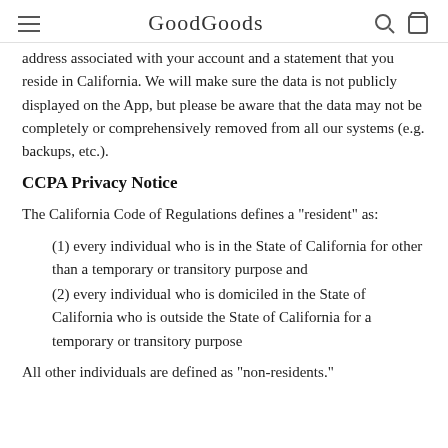GoodGoods
address associated with your account and a statement that you reside in California. We will make sure the data is not publicly displayed on the App, but please be aware that the data may not be completely or comprehensively removed from all our systems (e.g. backups, etc.).
CCPA Privacy Notice
The California Code of Regulations defines a "resident" as:
(1) every individual who is in the State of California for other than a temporary or transitory purpose and
(2) every individual who is domiciled in the State of California who is outside the State of California for a temporary or transitory purpose
All other individuals are defined as "non-residents."